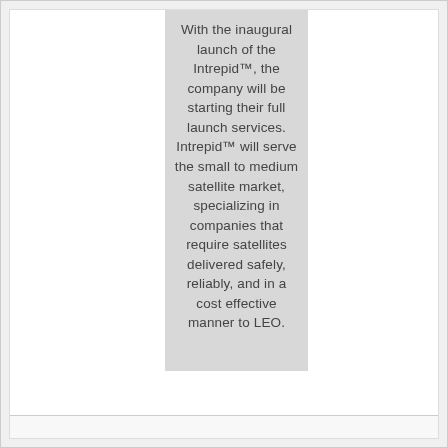With the inaugural launch of the Intrepid™, the company will be starting their full launch services. Intrepid™ will serve the small to medium satellite market, specializing in companies that require satellites delivered safely, reliably, and in a cost effective manner to LEO.